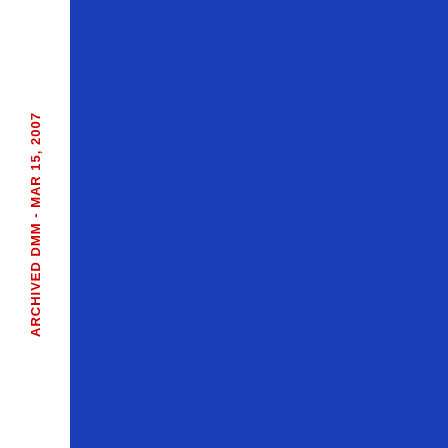holder may request a refund as described in 604.9.2.10.
8.6.7 Payment Options
Permit holders may pay for returned BRM pieces by cash or check upon delivery, or through a BRM advance deposit account. Advance deposit does not qualify the permit holder for any discount. No accounting fee is charged.
8.7 Mailpiece Characteristics
8.7.1 Paper Weight
BRM paper envelopes must be made from 17- to 28-lb bond (basis 17 by 22-inch sheets). Other weight requirements in 201.
8.7.2 Nonpaper Envelopes
USPS Engineering must approve nonpaper envelopes. See 201.3.0.
8.7.3 Envelope Reflectance
Envelope material must not exceed 60 percent reflectance as measured by densitometer units.
8.7.4 Sealing and Edges
All BRM pieces must have four sealed edges. BRM pieces are not mailable if they are sealed.
8.7.5 Window Envelopes
The following standards a
ARCHIVED DMM - MAR 15, 2007